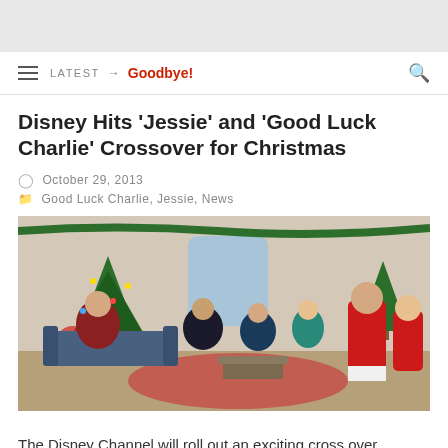LATEST → Goodbye!
Disney Hits 'Jessie' and 'Good Luck Charlie' Crossover for Christmas
October 29, 2013
Good Luck Charlie, Jessie, News
[Figure (photo): Scene from the Disney Channel crossover episode showing characters in a Christmas-decorated living room. Two women in Santa/Mrs. Claus costumes on the right, other cast members seated on sofas on the left, Christmas trees and decorations visible throughout.]
The Disney Channel will roll out an exciting cross over episode of the network's hit series Good Luck Charlie and Jessie, scheduled to air at...